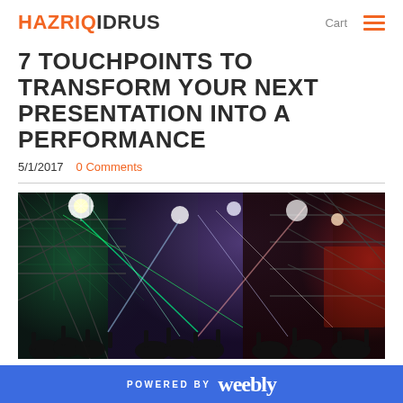HAZRIQ IDRUS   Cart ☰
7 TOUCHPOINTS TO TRANSFORM YOUR NEXT PRESENTATION INTO A PERFORMANCE
5/1/2017   0 Comments
[Figure (photo): Concert photo with colorful stage lighting, lasers, scaffolding, and crowd silhouettes with raised hands in a large indoor venue.]
POWERED BY weebly